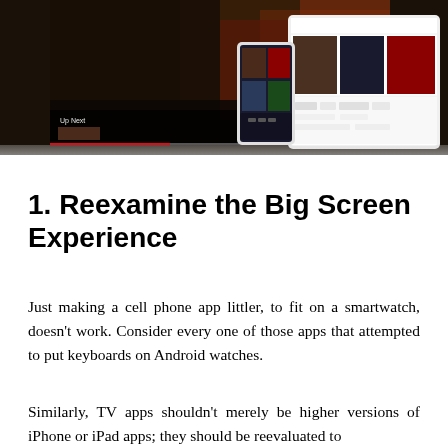[Figure (screenshot): Screenshots of a streaming TV application shown on a large screen TV display with a movie/show scene, overlaid with a tablet showing a content grid view and a phone showing thumbnails. An 'Up Next' overlay is visible on the TV screen.]
1. Reexamine the Big Screen Experience
Just making a cell phone app littler, to fit on a smartwatch, doesn't work. Consider every one of those apps that attempted to put keyboards on Android watches.
Similarly, TV apps shouldn't merely be higher versions of iPhone or iPad apps; they should be reevaluated to